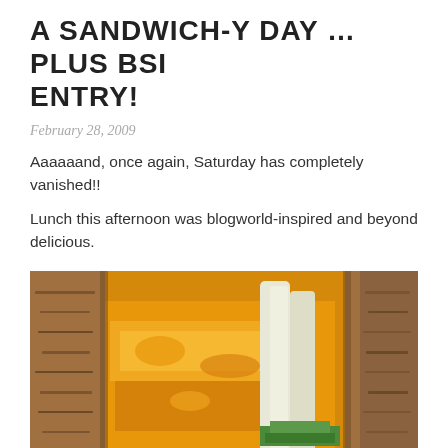A SANDWICH-Y DAY … PLUS BSI ENTRY!
February 28, 2009
Aaaaaand, once again, Saturday has completely vanished!!
Lunch this afternoon was blogworld-inspired and beyond delicious.
[Figure (photo): Close-up photo of a sandwich cross-section on whole grain bread, showing layers including what appears to be fruit preserves/chutney (orange/yellow), apple slices, and green vegetables.]